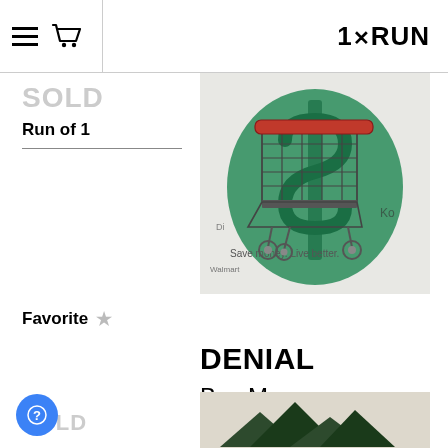1×RUN
SOLD
Run of 1
[Figure (photo): Artwork showing a shopping cart over a large green dollar sign, with brand logos including Walmart visible in the background. Red handles on the cart.]
Favorite ☆
DENIAL
Buy Me
SOLD
[Figure (photo): Partial view of a second artwork showing mountain-like shapes in dark green/black on a light background.]